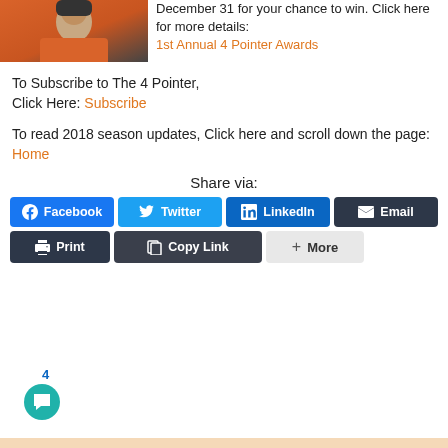[Figure (photo): Person wearing orange jacket outdoors in snowy setting]
December 31 for your chance to win. Click here for more details: 1st Annual 4 Pointer Awards
To Subscribe to The 4 Pointer, Click Here: Subscribe
To read 2018 season updates, Click here and scroll down the page: Home
Share via:
[Figure (screenshot): Social share buttons: Facebook, Twitter, LinkedIn, Email, Print, Copy Link, More]